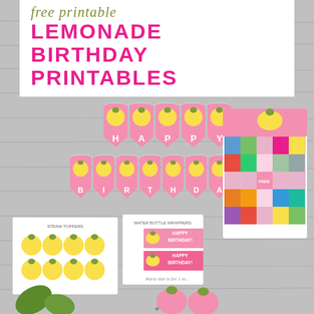free printable LEMONADE BIRTHDAY PRINTABLES
[Figure (photo): Photo collage on gray wood background showing: a pink 'HAPPY BIRTHDAY' banner bunting with yellow lemon graphics, straw toppers sheet with lemon circles, water bottle wrappers with 'HAPPY BIRTHDAY!' text, a bingo card with summer emoji stickers, and additional pink lemon party printables]